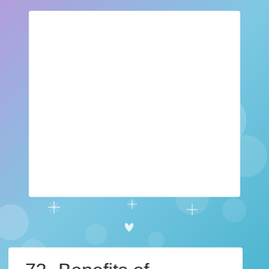[Figure (illustration): Decorative background with purple and teal bokeh/sparkle effect and white bokeh circles. A white rectangular card sits in the upper portion.]
73- Benefits of Gratitude
+ Leave a Comment
1- Gratitude actually changes our physiology
2- Being in a state of gratitude releases